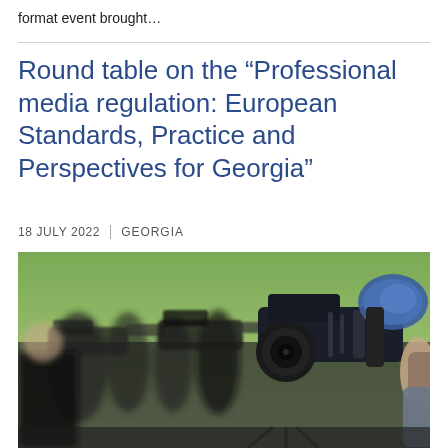format event brought…
Round table on the “Professional media regulation: European Standards, Practice and Perspectives for Georgia”
18 JULY 2022  |  GEORGIA
[Figure (photo): Multiple TV camera operators filming at an outdoor press event, with several large professional video cameras in the foreground and blurred journalists in the background.]